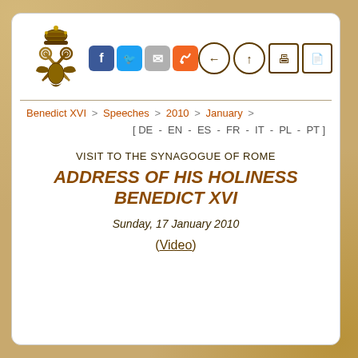[Figure (logo): Vatican papal crest/seal with tiara and crossed keys]
Benedict XVI > Speeches > 2010 > January
[ DE - EN - ES - FR - IT - PL - PT ]
VISIT TO THE SYNAGOGUE OF ROME
ADDRESS OF HIS HOLINESS BENEDICT XVI
Sunday, 17 January 2010
(Video)